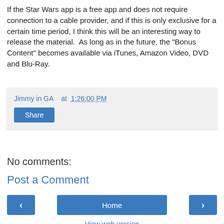If the Star Wars app is a free app and does not require connection to a cable provider, and if this is only exclusive for a certain time period, I think this will be an interesting way to release the material.  As long as in the future, the "Bonus Content" becomes available via iTunes, Amazon Video, DVD and Blu-Ray.
Jimmy in GA   at 1:26:00 PM
Share
No comments:
Post a Comment
< Home > View web version Powered by Blogger.